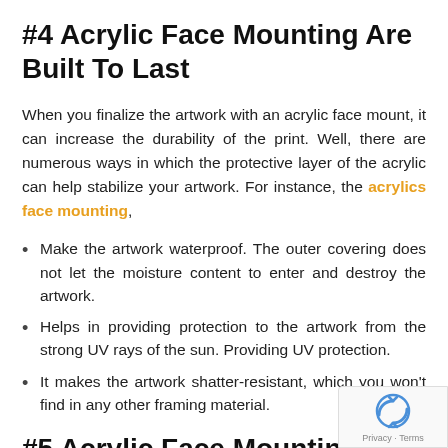#4 Acrylic Face Mounting Are Built To Last
When you finalize the artwork with an acrylic face mount, it can increase the durability of the print. Well, there are numerous ways in which the protective layer of the acrylic can help stabilize your artwork. For instance, the acrylics face mounting,
Make the artwork waterproof. The outer covering does not let the moisture content to enter and destroy the artwork.
Helps in providing protection to the artwork from the strong UV rays of the sun. Providing UV protection.
It makes the artwork shatter-resistant, which you won't find in any other framing material.
#5 Acrylic Face Mounting Are Easy To Clean And Maintain